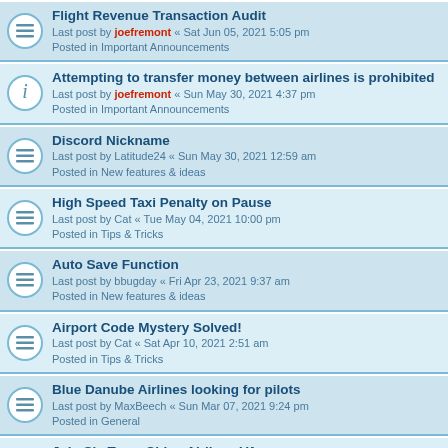Flight Revenue Transaction Audit - Last post by joefremont « Sat Jun 05, 2021 5:05 pm - Posted in Important Announcements
Attempting to transfer money between airlines is prohibited - Last post by joefremont « Sun May 30, 2021 4:37 pm - Posted in Important Announcements
Discord Nickname - Last post by Latitude24 « Sun May 30, 2021 12:59 am - Posted in New features & ideas
High Speed Taxi Penalty on Pause - Last post by Cat « Tue May 04, 2021 10:00 pm - Posted in Tips & Tricks
Auto Save Function - Last post by bbugday « Fri Apr 23, 2021 9:37 am - Posted in New features & ideas
Airport Code Mystery Solved! - Last post by Cat « Sat Apr 10, 2021 2:51 am - Posted in Tips & Tricks
Blue Danube Airlines looking for pilots - Last post by MaxBeech « Sun Mar 07, 2021 9:24 pm - Posted in General
Join SkyTeam China Airlines VA - Last post by alanchong « Fri Feb 26, 2021 4:56 am - Posted in General
Client 2.4.1 Released - Last post by joefremont « Sun Jan 31, 2021 12:32 am - Posted in Important Announcements
Clock in the Crew Center - Last post by ravenblade « Tue Jan 26, 2021 2:41 pm - Posted in New features & ideas
Crashed flights and Packages